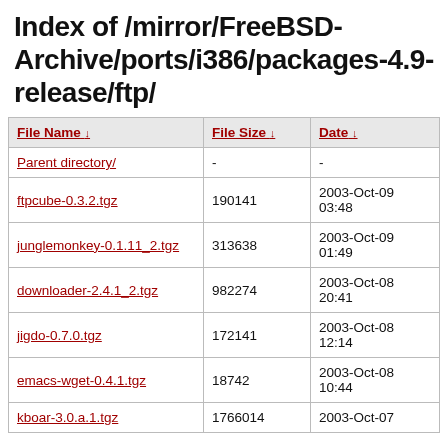Index of /mirror/FreeBSD-Archive/ports/i386/packages-4.9-release/ftp/
| File Name ↓ | File Size ↓ | Date ↓ |
| --- | --- | --- |
| Parent directory/ | - | - |
| ftpcube-0.3.2.tgz | 190141 | 2003-Oct-09 03:48 |
| junglemonkey-0.1.11_2.tgz | 313638 | 2003-Oct-09 01:49 |
| downloader-2.4.1_2.tgz | 982274 | 2003-Oct-08 20:41 |
| jigdo-0.7.0.tgz | 172141 | 2003-Oct-08 12:14 |
| emacs-wget-0.4.1.tgz | 18742 | 2003-Oct-08 10:44 |
| kboar-3.0.a.1.tgz | 1766014 | 2003-Oct-07 |